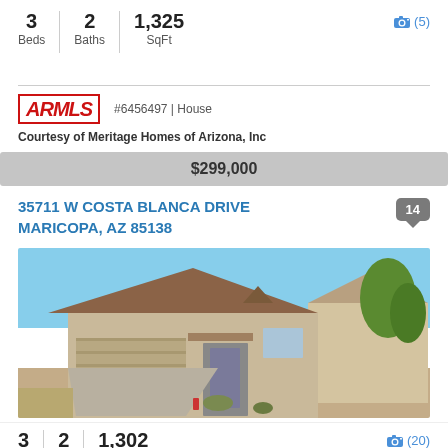3 Beds | 2 Baths | 1,325 SqFt
(5)
#6456497 | House
[Figure (logo): ARMLS logo in red italic bold text with border]
Courtesy of Meritage Homes of Arizona, Inc
$299,000
35711 W COSTA BLANCA DRIVE
MARICOPA, AZ 85138
14
[Figure (photo): Exterior photo of a single-story beige stucco house with attached garage, desert landscaping, blue sky background]
3 Beds | 2 | 1,302
(20)